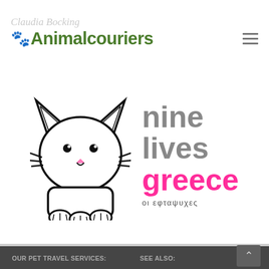Animalcouriers
[Figure (logo): Nine Lives Greece logo — cartoon cat illustration on the left, text 'nine lives greece οι εφταψυχες' on the right]
OUR PET TRAVEL SERVICES: | SEE ALSO:
> by air worldwide
> pet passports & other docs
> by road through